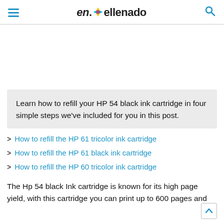en.Rellenado
Learn how to refill your HP 54 black ink cartridge in four simple steps we've included for you in this post.
How to refill the HP 61 tricolor ink cartridge
How to refill the HP 61 black ink cartridge
How to refill the HP 60 tricolor ink cartridge
The Hp 54 black Ink cartridge is known for its high page yield, with this cartridge you can print up to 600 pages and